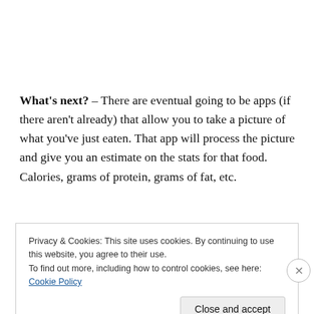What's next? – There are eventual going to be apps (if there aren't already) that allow you to take a picture of what you've just eaten. That app will process the picture and give you an estimate on the stats for that food. Calories, grams of protein, grams of fat, etc.
Privacy & Cookies: This site uses cookies. By continuing to use this website, you agree to their use.
To find out more, including how to control cookies, see here: Cookie Policy